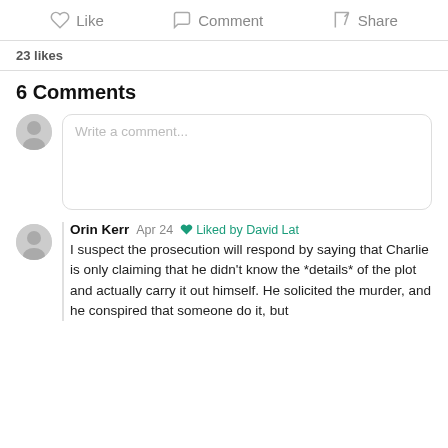Like  Comment  Share
23 likes
6 Comments
Write a comment...
Orin Kerr  Apr 24  Liked by David Lat
I suspect the prosecution will respond by saying that Charlie is only claiming that he didn't know the *details* of the plot and actually carry it out himself. He solicited the murder, and he conspired that someone do it, but